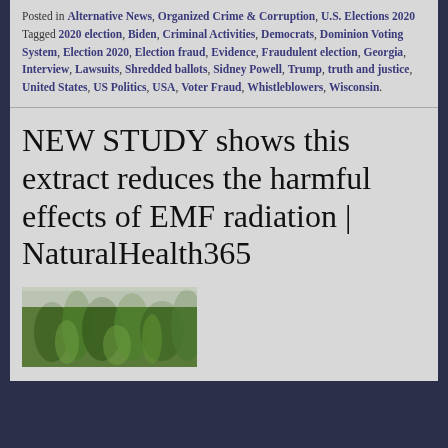Posted in Alternative News, Organized Crime & Corruption, U.S. Elections 2020
Tagged 2020 election, Biden, Criminal Activities, Democrats, Dominion Voting System, Election 2020, Election fraud, Evidence, Fraudulent election, Georgia, Interview, Lawsuits, Shredded ballots, Sidney Powell, Trump, truth and justice, United States, US Politics, USA, Voter Fraud, Whistleblowers, Wisconsin.
NEW STUDY shows this extract reduces the harmful effects of EMF radiation | NaturalHealth365
[Figure (photo): Partial photo of green herb or plant (rosemary-like) against a gray background, cropped at bottom of page]